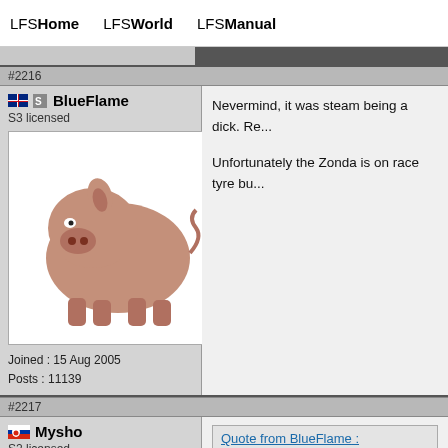LFSHome   LFSWorld   LFSManual
#2216
BlueFlame
S3 licensed
Joined : 15 Aug 2005
Posts : 11139
Nevermind, it was steam being a dick. Re...

Unfortunately the Zonda is on race tyre bu...
#2217
Mysho
S2 licensed
Quote from BlueFlame :
Anyone else getting massive FPS lag a...

In fact, scratch that, now I'm getting ma...
Nah my FPS improved on all tracks includ...